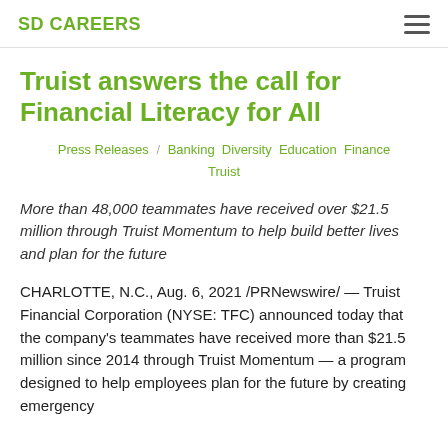SD CAREERS
Truist answers the call for Financial Literacy for All
Press Releases / Banking Diversity Education Finance Truist
More than 48,000 teammates have received over $21.5 million through Truist Momentum to help build better lives and plan for the future
CHARLOTTE, N.C., Aug. 6, 2021 /PRNewswire/ — Truist Financial Corporation (NYSE: TFC) announced today that the company's teammates have received more than $21.5 million since 2014 through Truist Momentum — a program designed to help employees plan for the future by creating emergency